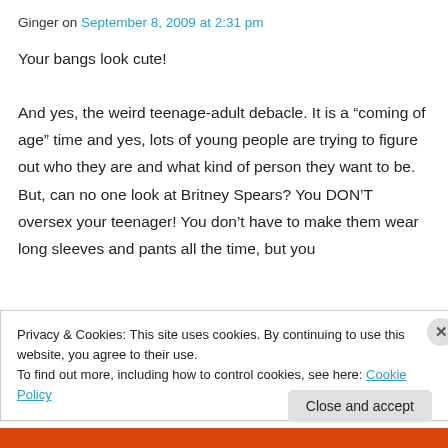Ginger on September 8, 2009 at 2:31 pm
Your bangs look cute!
And yes, the weird teenage-adult debacle. It is a “coming of age” time and yes, lots of young people are trying to figure out who they are and what kind of person they want to be. But, can no one look at Britney Spears? You DON’T oversex your teenager! You don’t have to make them wear long sleeves and pants all the time, but you
Privacy & Cookies: This site uses cookies. By continuing to use this website, you agree to their use.
To find out more, including how to control cookies, see here: Cookie Policy
Close and accept